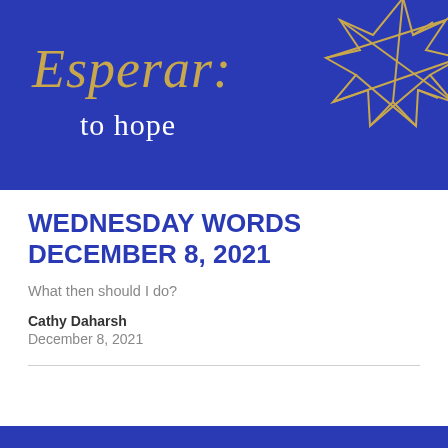[Figure (illustration): Blue banner with gold italic text 'Esperar:' and white text 'to hope', with a gold geometric snowflake/star decoration in the upper right corner]
WEDNESDAY WORDS DECEMBER 8, 2021
What then should I do?
Cathy Daharsh
December 8, 2021